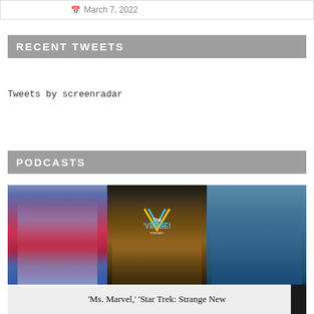March 7, 2022
RECENT TWEETS
Tweets by screenradar
PODCASTS
[Figure (photo): Podcast thumbnail image showing three panels: a superhero character (Ms. Marvel), a king character (Black Panther related), and a Star Trek character, with 'The Verse Podcast' logo overlay]
'Ms. Marvel,' 'Star Trek: Strange New